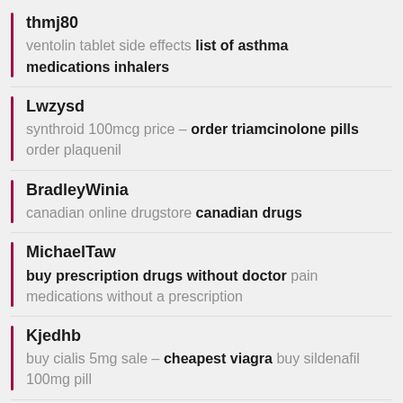thmj80 — ventolin tablet side effects list of asthma medications inhalers
Lwzysd — synthroid 100mcg price – order triamcinolone pills order plaquenil
BradleyWinia — canadian online drugstore canadian drugs
MichaelTaw — buy prescription drugs without doctor pain medications without a prescription
Kjedhb — buy cialis 5mg sale – cheapest viagra buy sildenafil 100mg pill
ralpassy — albuterol sulfate inhaler albuterol 90 mcg inhaler
Ruinart